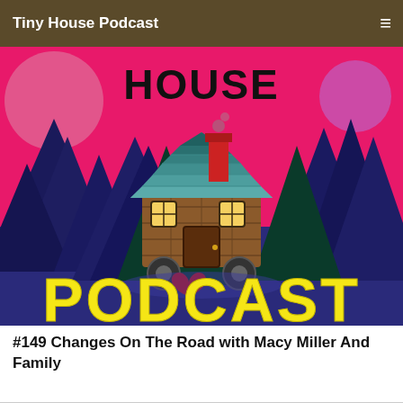Tiny House Podcast
[Figure (illustration): Tiny House Podcast logo artwork: a cartoon illustration of a tiny house on wheels surrounded by dark evergreen trees against a pink sky with a large moon. The house has a teal roof with shingle-like scales, a chimney, glowing yellow windows, and a red heart on the ground. The word 'HOUSE' appears at the top in black hand-lettered text, and 'PODCAST' appears at the bottom in large bold yellow letters.]
#149 Changes On The Road with Macy Miller And Family